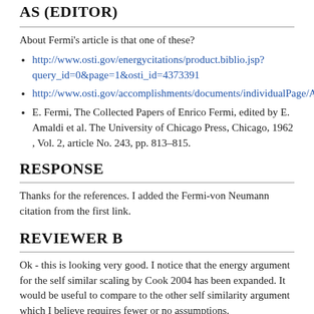AS (EDITOR)
About Fermi's article is that one of these?
http://www.osti.gov/energycitations/product.biblio.jsp?query_id=0&page=1&osti_id=4373391
http://www.osti.gov/accomplishments/documents/individualPage/AC...
E. Fermi, The Collected Papers of Enrico Fermi, edited by E. Amaldi et al. The University of Chicago Press, Chicago, 1962 , Vol. 2, article No. 243, pp. 813–815.
RESPONSE
Thanks for the references. I added the Fermi-von Neumann citation from the first link.
REVIEWER B
Ok - this is looking very good. I notice that the energy argument for the self similar scaling by Cook 2004 has been expanded. It would be useful to compare to the other self similarity argument which I believe requires fewer or no assumptions.